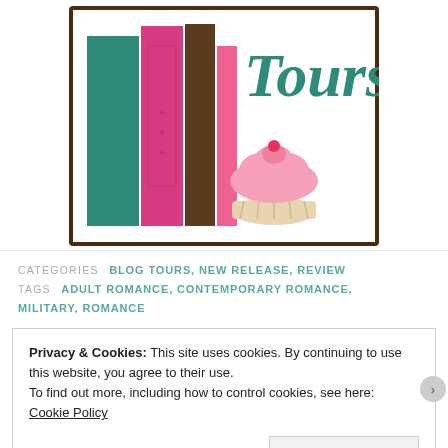[Figure (logo): Book Tours logo with colorful book spines and a cupcake illustration, teal cursive text reading 'Tours', brown border frame]
CATEGORIES  BLOG TOURS, NEW RELEASE, REVIEW
TAGS  ADULT ROMANCE, CONTEMPORARY ROMANCE, MILITARY, ROMANCE
Privacy & Cookies: This site uses cookies. By continuing to use this website, you agree to their use.
To find out more, including how to control cookies, see here:
Cookie Policy

Close and accept